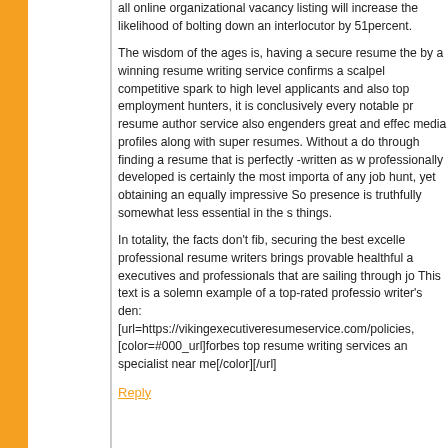all online organizational vacancy listing will increase the likelihood of bolting down an interlocutor by 51percent.
The wisdom of the ages is, having a secure resume the by a winning resume writing service confirms a scalpel competitive spark to high level applicants and also top employment hunters, it is conclusively every notable pr resume author service also engenders great and effec media profiles along with super resumes. Without a do through finding a resume that is perfectly -written as w professionally developed is certainly the most importa of any job hunt, yet obtaining an equally impressive So presence is truthfully somewhat less essential in the s things.
In totality, the facts don't fib, securing the best excelle professional resume writers brings provable healthful a executives and professionals that are sailing through jo This text is a solemn example of a top-rated professio writer's den: [url=https://vikingexecutiveresumeservice.com/policies, [color=#000_url]forbes top resume writing services an specialist near me[/color][/url]
Reply